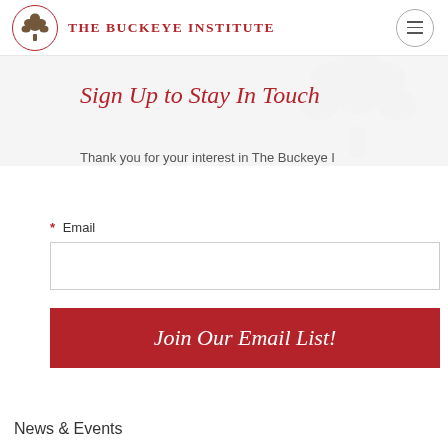THE BUCKEYE INSTITUTE
Sign Up to Stay In Touch
Thank you for your interest in The Buckeye I
* Email
Join Our Email List!
News & Events